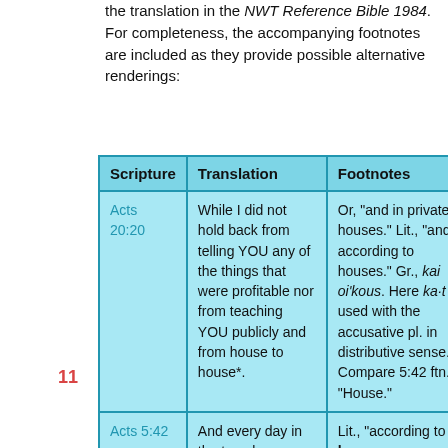the translation in the NWT Reference Bible 1984. For completeness, the accompanying footnotes are included as they provide possible alternative renderings:
| Scripture | Translation | Footnotes |
| --- | --- | --- |
| Acts 20:20 | While I did not hold back from telling YOU any of the things that were profitable nor from teaching YOU publicly and from house to house*. | Or, "and in private houses." Lit., "and according to houses." Gr., kai oi'kous. Here ka·t used with the accusative pl. in distributive sense. Compare 5:42 ftn. "House." |
| Acts 5:42 | And every day in the temple | Lit., "according to house". |